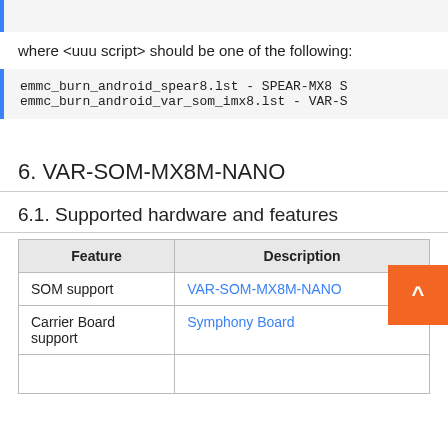(code block top - truncated)
where <uuu script> should be one of the following:
emmc_burn_android_spear8.lst - SPEAR-MX8 S
emmc_burn_android_var_som_imx8.lst - VAR-S
6. VAR-SOM-MX8M-NANO
6.1. Supported hardware and features
| Feature | Description |
| --- | --- |
| SOM support | VAR-SOM-MX8M-NANO |
| Carrier Board support | Symphony Board |